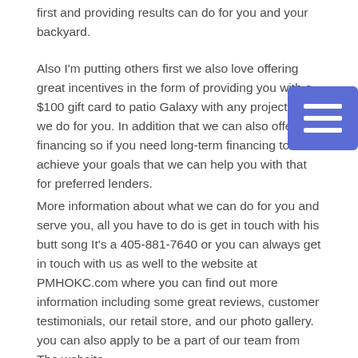first and providing results can do for you and your backyard.
Also I'm putting others first we also love offering great incentives in the form of providing you with a $100 gift card to patio Galaxy with any project that we do for you. In addition that we can also offer you financing so if you need long-term financing to achieve your goals that we can help you with that for preferred lenders.
More information about what we can do for you and serve you, all you have to do is get in touch with his butt song It's a 405-881-7640 or you can always get in touch with us as well to the website at PMHOKC.com where you can find out more information including some great reviews, customer testimonials, our retail store, and our photo gallery. you can also apply to be a part of our team from The website.